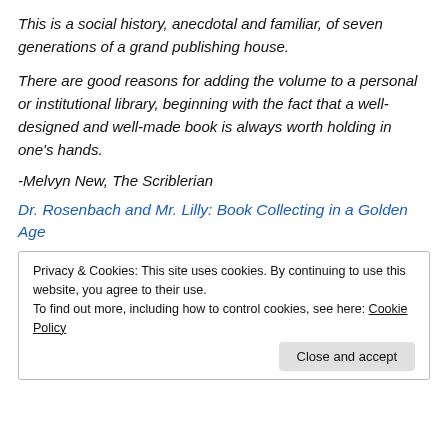This is a social history, anecdotal and familiar, of seven generations of a grand publishing house.
There are good reasons for adding the volume to a personal or institutional library, beginning with the fact that a well-designed and well-made book is always worth holding in one's hands.
-Melvyn New, The Scriblerian
Dr. Rosenbach and Mr. Lilly: Book Collecting in a Golden Age
Privacy & Cookies: This site uses cookies. By continuing to use this website, you agree to their use.
To find out more, including how to control cookies, see here: Cookie Policy